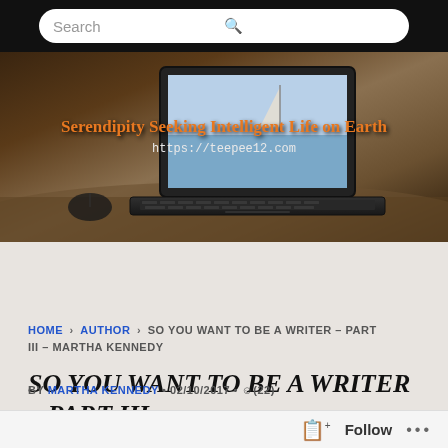[Figure (screenshot): Search bar on dark background at top of mobile browser]
[Figure (photo): Blog banner image showing a laptop on a desk with overlay text: 'Serendipity Seeking Intelligent Life on Earth' and URL https://teepee12.com]
Menu
HOME > AUTHOR > SO YOU WANT TO BE A WRITER – PART III – MARTHA KENNEDY
SO YOU WANT TO BE A WRITER – PART III – MARTHA KENNEDY
BY MARTHA KENNEDY • 02/10/2017 • (22)